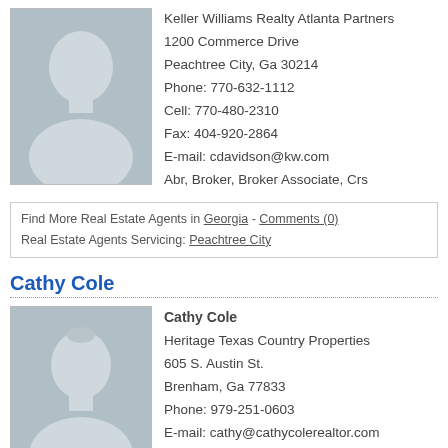[Figure (photo): Default placeholder avatar silhouette for first agent (C. Davidson)]
Keller Williams Realty Atlanta Partners
1200 Commerce Drive
Peachtree City, Ga 30214
Phone: 770-632-1112
Cell: 770-480-2310
Fax: 404-920-2864
E-mail: cdavidson@kw.com
Abr, Broker, Broker Associate, Crs
Find More Real Estate Agents in Georgia - Comments (0)
Real Estate Agents Servicing: Peachtree City
Cathy Cole
[Figure (photo): Default placeholder avatar silhouette for Cathy Cole]
Cathy Cole
Heritage Texas Country Properties
605 S. Austin St.
Brenham, Ga 77833
Phone: 979-251-0603
E-mail: cathy@cathycolerealtor.com
Alc, Crb, Crs, E-Pro, Realtor, Wcr
Find More Real Estate Agents in Georgia - Comments (0)